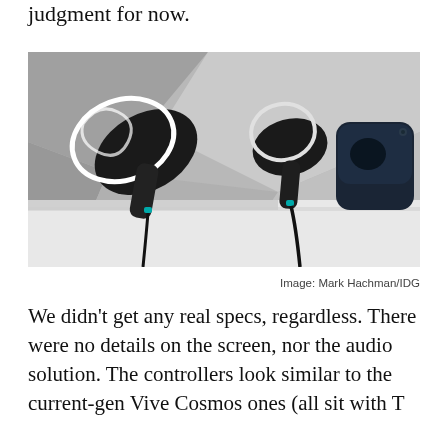judgment for now.
[Figure (photo): Two VR controllers and a VR headset displayed on a white shelf against a gray geometric background. The left controller has a large illuminated ring with decorative patterns. The right controller has a smaller circular ring. A dark blue VR headset is visible on the right side. Black wrist straps hang down from the controllers with teal cable clips.]
Image: Mark Hachman/IDG
We didn't get any real specs, regardless. There were no details on the screen, nor the audio solution. The controllers look similar to the current-gen Vive Cosmos ones (all sit with Tomas